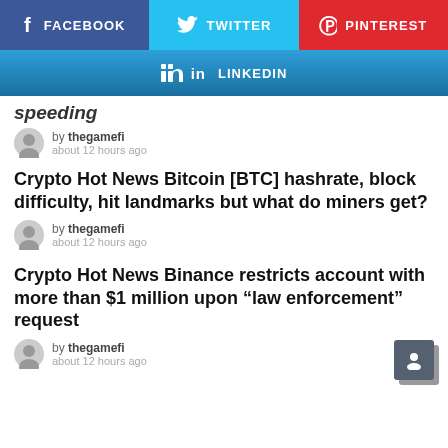[Figure (infographic): Social media share buttons: Facebook (blue), Twitter (cyan), Pinterest (red), LinkedIn (blue gradient)]
speeding
by thegamefi
about 12 hours ago
Crypto Hot News Bitcoin [BTC] hashrate, block difficulty, hit landmarks but what do miners get?
by thegamefi
about 12 hours ago
Crypto Hot News Binance restricts account with more than $1 million upon “law enforcement” request
by thegamefi
about 12 hours ago